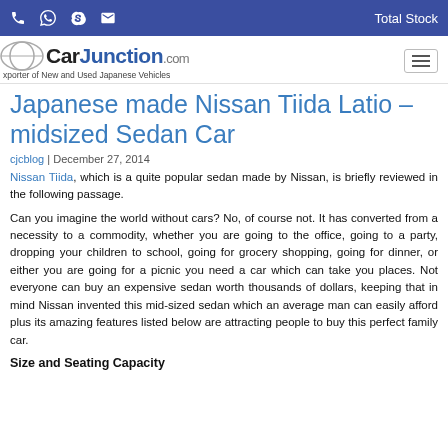Total Stock
[Figure (logo): CarJunction.com logo with oval emblem and tagline: Exporter of New and Used Japanese Vehicles]
Japanese made Nissan Tiida Latio – midsized Sedan Car
cjcblog | December 27, 2014
Nissan Tiida, which is a quite popular sedan made by Nissan, is briefly reviewed in the following passage.
Can you imagine the world without cars? No, of course not. It has converted from a necessity to a commodity, whether you are going to the office, going to a party, dropping your children to school, going for grocery shopping, going for dinner, or either you are going for a picnic you need a car which can take you places. Not everyone can buy an expensive sedan worth thousands of dollars, keeping that in mind Nissan invented this mid-sized sedan which an average man can easily afford plus its amazing features listed below are attracting people to buy this perfect family car.
Size and Seating Capacity